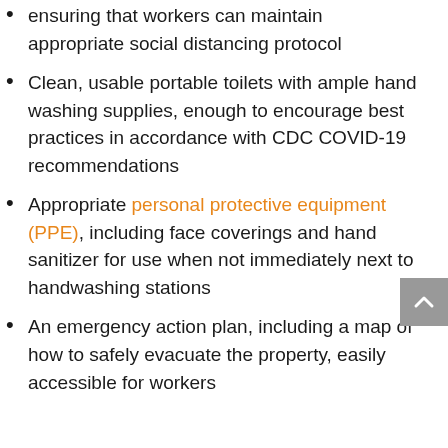ensuring that workers can maintain appropriate social distancing protocol
Clean, usable portable toilets with ample hand washing supplies, enough to encourage best practices in accordance with CDC COVID-19 recommendations
Appropriate personal protective equipment (PPE), including face coverings and hand sanitizer for use when not immediately next to handwashing stations
An emergency action plan, including a map of how to safely evacuate the property, easily accessible for workers